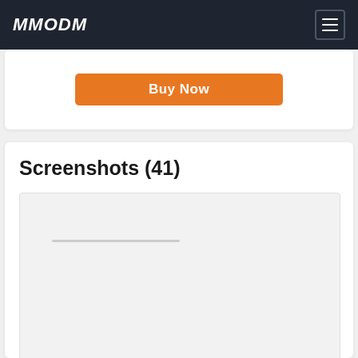MMODM
[Figure (screenshot): Buy Now button (orange) partially visible in a white card]
Screenshots (41)
[Figure (screenshot): Loading placeholder for a screenshot image with grey horizontal lines on a light grey background]